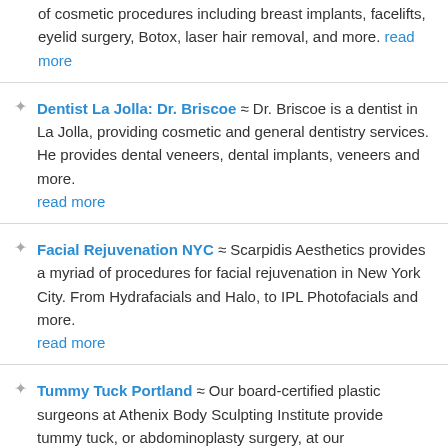of cosmetic procedures including breast implants, facelifts, eyelid surgery, Botox, laser hair removal, and more. read more
Dentist La Jolla: Dr. Briscoe ≈ Dr. Briscoe is a dentist in La Jolla, providing cosmetic and general dentistry services. He provides dental veneers, dental implants, veneers and more. read more
Facial Rejuvenation NYC ≈ Scarpidis Aesthetics provides a myriad of procedures for facial rejuvenation in New York City. From Hydrafacials and Halo, to IPL Photofacials and more. read more
Tummy Tuck Portland ≈ Our board-certified plastic surgeons at Athenix Body Sculpting Institute provide tummy tuck, or abdominoplasty surgery, at our Portland/Beaverton office. read more
Top Rhinoplasty Surgeon Beverly Hills - Dr. Brenner ≈ Dr. Kevin Brenner is a top rhinoplasty surgeon in Beverly Hills. He